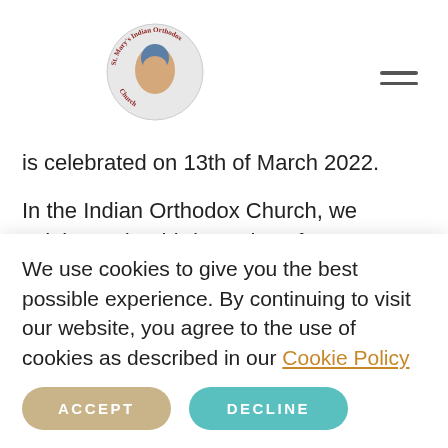Mary's Indian Orthodox Church logo and navigation
is celebrated on 13th of March 2022.
In the Indian Orthodox Church, we celebrate the third Sunday of Great Lent as 'Paralytic Sunday'. On this Sunday we commemorate the healing of the Paralytic who was lowered into a house.
In the Gospel Reading (Mark 2: 5) we read: "When Jesus saw their faith, he said to the paralytic, "Son, your sins are forgiven" In this passage we see Christ
We use cookies to give you the best possible experience. By continuing to visit our website, you agree to the use of cookies as described in our Cookie Policy
ACCEPT
DECLINE